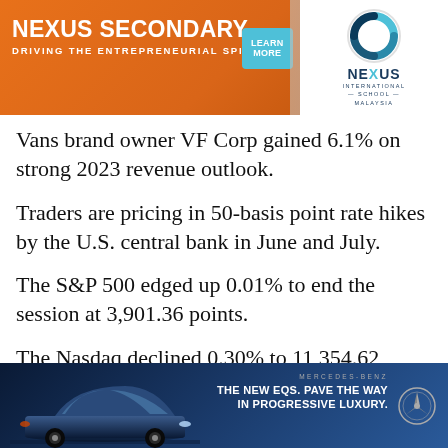[Figure (illustration): Nexus Secondary School advertisement banner with orange gradient background, 'LEARN MORE' button, photo of students, and Nexus International School Malaysia logo]
Vans brand owner VF Corp gained 6.1% on strong 2023 revenue outlook.
Traders are pricing in 50-basis point rate hikes by the U.S. central bank in June and July.
The S&P 500 edged up 0.01% to end the session at 3,901.36 points.
The Nasdaq declined 0.30% to 11,354.62 points, while the Dow Jones Industrial Average rose 0.03% to 31,261.90 points.
[Figure (illustration): Mercedes-Benz EQS advertisement with dark blue background showing a luxury car and tagline 'THE NEW EQS. PAVE THE WAY IN PROGRESSIVE LUXURY.']